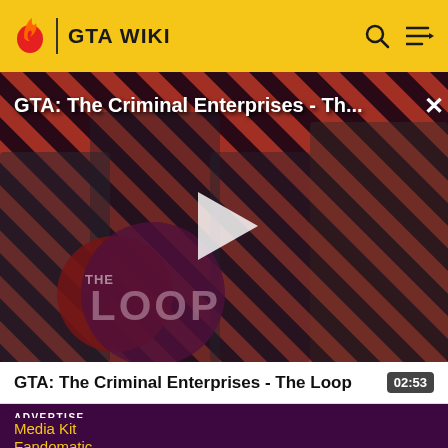GTA WIKI
[Figure (screenshot): Video thumbnail for GTA: The Criminal Enterprises - The Loop, showing four game characters on a red diagonal striped background with The Loop logo, and a play button overlay]
GTA: The Criminal Enterprises - Th...
GTA: The Criminal Enterprises - The Loop  02:53
ADVERTISE
Media Kit
Fandomatic